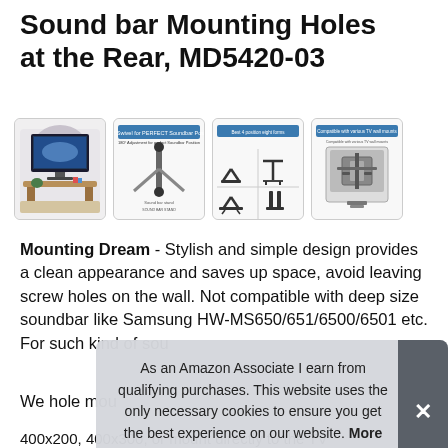Sound bar Mounting Holes at the Rear, MD5420-03
[Figure (photo): Four product thumbnail images: (1) TV mounted on wall with soundbar on stand in living room, (2) diagram showing 180-degree swivel for perfect soundbar position, (3) diagram showing four different mounting foot configurations, (4) diagram showing compatibility with various TV wall mounts]
Mounting Dream - Stylish and simple design provides a clean appearance and saves up space, avoid leaving screw holes on the wall. Not compatible with deep size soundbar like Samsung HW-MS650/651/6500/6501 etc. For such kind of sou
We hole mou 400x200, 400x300, or mount directly to the TV
As an Amazon Associate I earn from qualifying purchases. This website uses the only necessary cookies to ensure you get the best experience on our website. More information